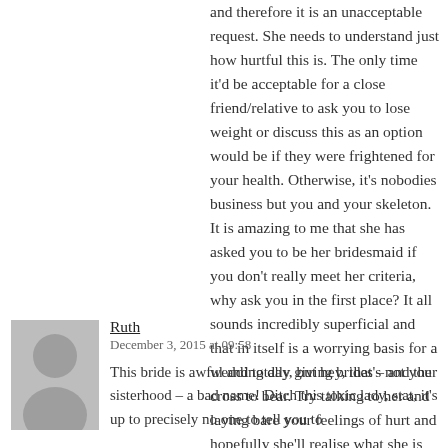and therefore it is an unacceptable request. She needs to understand just how hurtful this is. The only time it'd be acceptable for a close friend/relative to ask you to lose weight or discuss this as an option would be if they were frightened for your health. Otherwise, it's nobodies business but you and your skeleton. It is amazing to me that she has asked you to be her bridesmaid if you don't really meet her criteria, why ask you in the first place? It all sounds incredibly superficial and that in itself is a worrying basis for a wedding day, but hey, that's not your cross to bear. Try talking to her and laying bare your feelings of hurt and hopefully she'll realise what she is asking.
Ruth
December 3, 2015 at 09:58
This bride is awful and totally giving brides – and the sisterhood – a bad name! Ditch this toxic lady, stat, it's up to precisely no one to tell you to